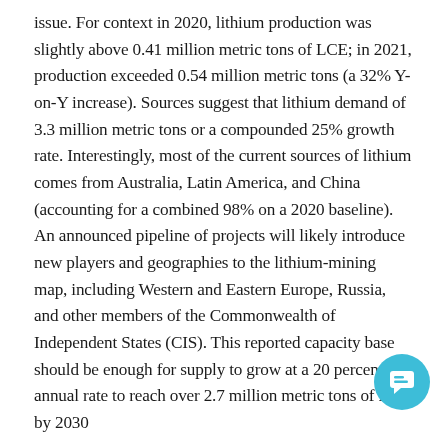issue. For context in 2020, lithium production was slightly above 0.41 million metric tons of LCE; in 2021, production exceeded 0.54 million metric tons (a 32% Y-on-Y increase). Sources suggest that lithium demand of 3.3 million metric tons or a compounded 25% growth rate. Interestingly, most of the current sources of lithium comes from Australia, Latin America, and China (accounting for a combined 98% on a 2020 baseline). An announced pipeline of projects will likely introduce new players and geographies to the lithium-mining map, including Western and Eastern Europe, Russia, and other members of the Commonwealth of Independent States (CIS). This reported capacity base should be enough for supply to grow at a 20 percent annual rate to reach over 2.7 million metric tons of LCE by 2030
Another key metal to look towards is palladium
[Figure (other): Chat button widget - a teal/cyan circular button with a chat bubble icon]